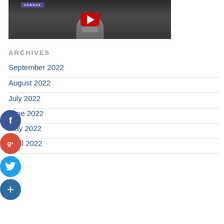[Figure (screenshot): YouTube video thumbnail showing a person in a suit with a Census banner at the top and a red YouTube play button overlay]
ARCHIVES
September 2022
August 2022
July 2022
June 2022
May 2022
April 2022